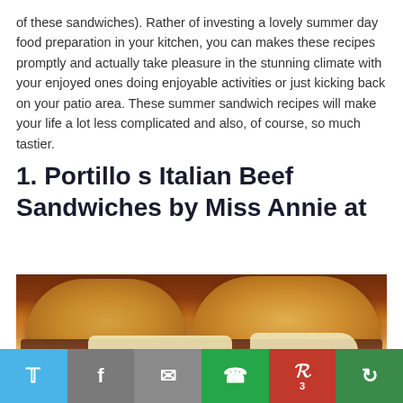of these sandwiches). Rather of investing a lovely summer day food preparation in your kitchen, you can makes these recipes promptly and actually take pleasure in the stunning climate with your enjoyed ones doing enjoyable activities or just kicking back on your patio area. These summer sandwich recipes will make your life a lot less complicated and also, of course, so much tastier.
1. Portillo s Italian Beef Sandwiches by Miss Annie at
[Figure (photo): Close-up photo of Italian beef sandwiches on rolls with melted cheese, viewed from the side, showing two sandwiches with golden-brown buns and meat filling.]
Social sharing bar with Twitter, Facebook, Email, WhatsApp, Pinterest (3), and More buttons